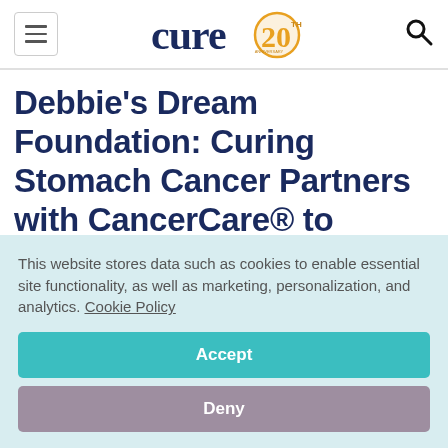cure20 [logo] | hamburger menu | search icon
Debbie's Dream Foundation: Curing Stomach Cancer Partners with CancerCare® to Launch A New Helpline for Those Affected by Stomach
This website stores data such as cookies to enable essential site functionality, as well as marketing, personalization, and analytics. Cookie Policy
Accept
Deny